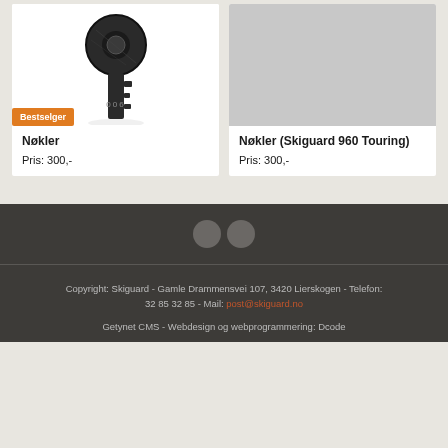[Figure (photo): A dark metal key with circular bow and number '006' on the blade, photographed on white background. 'Bestselger' badge in orange at bottom left.]
Nøkler
Pris: 300,-
[Figure (photo): Gray placeholder image for Nøkler (Skiguard 960 Touring) product.]
Nøkler (Skiguard 960 Touring)
Pris: 300,-
[Figure (other): Two gray circular pagination dots on dark background]
Copyright: Skiguard - Gamle Drammensvei 107, 3420 Lierskogen - Telefon: 32 85 32 85 - Mail: post@skiguard.no
Getynet CMS - Webdesign og webprogrammering: Dcode